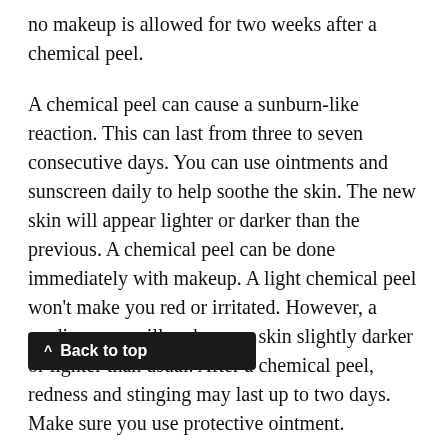no makeup is allowed for two weeks after a chemical peel.
A chemical peel can cause a sunburn-like reaction. This can last from three to seven consecutive days. You can use ointments and sunscreen daily to help soothe the skin. The new skin will appear lighter or darker than the previous. A chemical peel can be done immediately with makeup. A light chemical peel won't make you red or irritated. However, a medium one will make your skin slightly darker or lighter than usual. After a chemical peel, redness and stinging may last up to two days. Make sure you use protective ointment.
Chemical peels are a great way to make your skin look younger and more beautiful. They remove dead skin cells to reveal newer, smoother skin. They also remove wrinkles, discoloration and improve skin texture. Some chemical peels can even out skin tone. Others